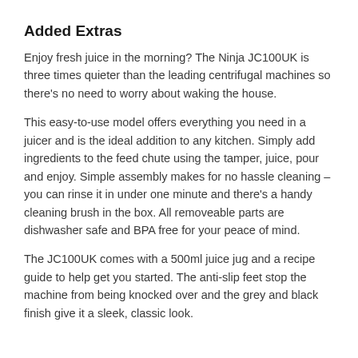Added Extras
Enjoy fresh juice in the morning? The Ninja JC100UK is three times quieter than the leading centrifugal machines so there’s no need to worry about waking the house.
This easy-to-use model offers everything you need in a juicer and is the ideal addition to any kitchen. Simply add ingredients to the feed chute using the tamper, juice, pour and enjoy. Simple assembly makes for no hassle cleaning – you can rinse it in under one minute and there’s a handy cleaning brush in the box. All removeable parts are dishwasher safe and BPA free for your peace of mind.
The JC100UK comes with a 500ml juice jug and a recipe guide to help get you started. The anti-slip feet stop the machine from being knocked over and the grey and black finish give it a sleek, classic look.